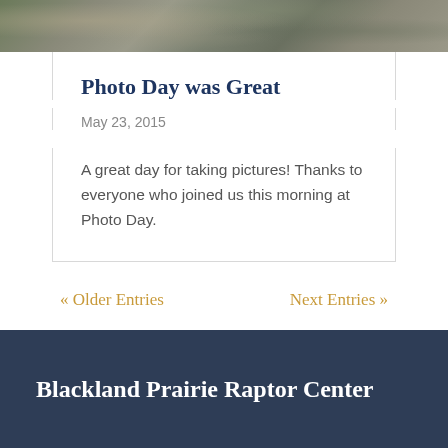[Figure (photo): Partial photograph of bark or rock texture with lichen, shown as a cropped strip at the top of the page]
Photo Day was Great
May 23, 2015
A great day for taking pictures! Thanks to everyone who joined us this morning at Photo Day.
« Older Entries
Next Entries »
Blackland Prairie Raptor Center